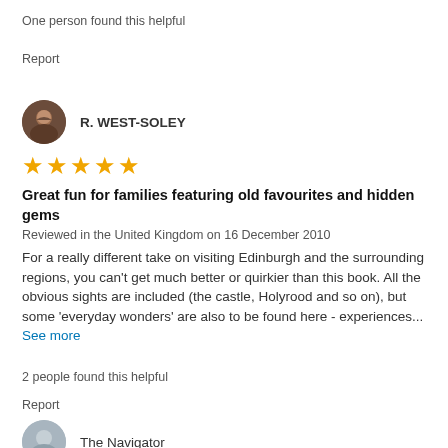One person found this helpful
Report
R. WEST-SOLEY
★★★★★
Great fun for families featuring old favourites and hidden gems
Reviewed in the United Kingdom on 16 December 2010
For a really different take on visiting Edinburgh and the surrounding regions, you can't get much better or quirkier than this book. All the obvious sights are included (the castle, Holyrood and so on), but some 'everyday wonders' are also to be found here - experiences... See more
2 people found this helpful
Report
The Navigator